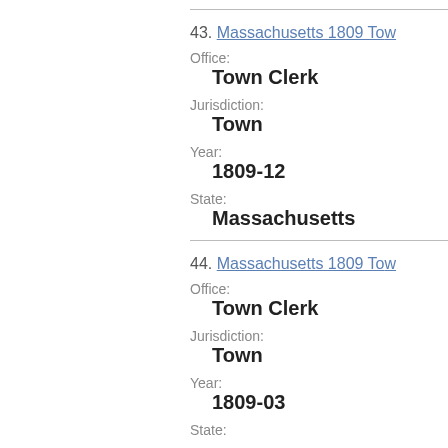Massachusetts
43. Massachusetts 1809 To...
Office: Town Clerk
Jurisdiction: Town
Year: 1809-12
State: Massachusetts
44. Massachusetts 1809 To...
Office: Town Clerk
Jurisdiction: Town
Year: 1809-03
State: